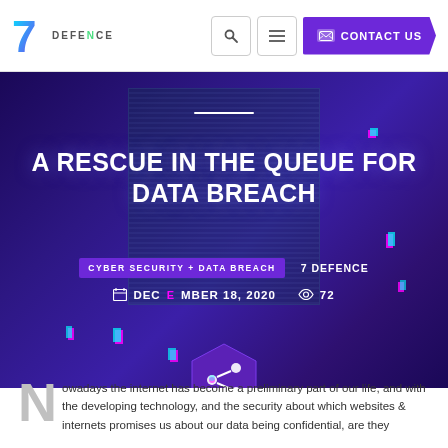7 DEFENCE — navigation bar with logo, search, menu, and CONTACT US button
[Figure (screenshot): Hero banner with dark purple background, center vertical panel with texture lines, glitch color artifacts, title 'A RESCUE IN THE QUEUE FOR DATA BREACH', category badge 'CYBER SECURITY + DATA BREACH', author '7 DEFENCE', date 'DECEMBER 18, 2020', view count '72', share hexagon icon]
A RESCUE IN THE QUEUE FOR DATA BREACH
CYBER SECURITY + DATA BREACH   7 DEFENCE   DECEMBER 18, 2020   72
Nowadays the internet has become a preliminary part of our life, and with the developing technology, and the security about which websites & internets promises us about our data being confidential, are they